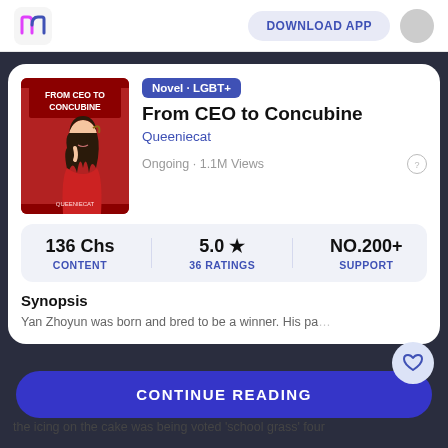DOWNLOAD APP
[Figure (illustration): Book cover for 'From CEO to Concubine' showing a woman in red with dark hair against a red decorative background]
Novel · LGBT+
From CEO to Concubine
Queeniecat
Ongoing · 1.1M Views
| CONTENT | 36 RATINGS | SUPPORT |
| --- | --- | --- |
| 136 Chs | 5.0 ★ | NO.200+ |
Synopsis
Yan Zhoyun was born and bred to be a winner. His pa... of his ... country, an... the icing on the cake was being voted 'school grass' four
CONTINUE READING